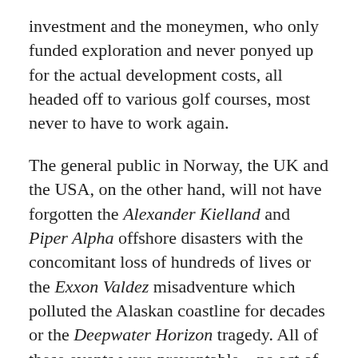investment and the moneymen, who only funded exploration and never ponyed up for the actual development costs, all headed off to various golf courses, most never to have to work again.
The general public in Norway, the UK and the USA, on the other hand, will not have forgotten the Alexander Kielland and Piper Alpha offshore disasters with the concomitant loss of hundreds of lives or the Exxon Valdez misadventure which polluted the Alaskan coastline for decades or the Deepwater Horizon tragedy. All of these events were preventable – no act of God or nature were the causes of these events. Human error and corporate failings were behind them all. So the industry, despite creating hundreds of thousands of jobs and earning international offshore...